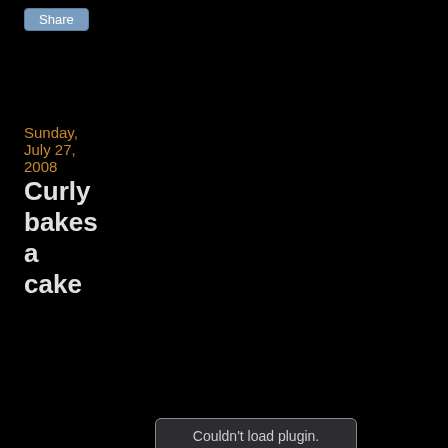Share
Sunday, July 27, 2008
Curly bakes a cake
[Figure (other): Embedded plugin area showing 'Couldn't load plugin.' message on a dark background]
Vincenzo at 3:37 AM    1 comment:
Share